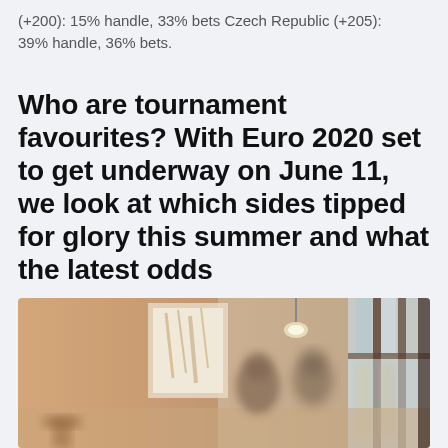(+200): 15% handle, 33% bets Czech Republic (+205): 39% handle, 36% bets.
Who are tournament favourites? With Euro 2020 set to get underway on June 11, we look at which sides tipped for glory this summer and what the latest odds
[Figure (photo): Interior of a cafe or restaurant with people sitting at tables, warm lighting, large windows, blurred background with artwork on wall.]